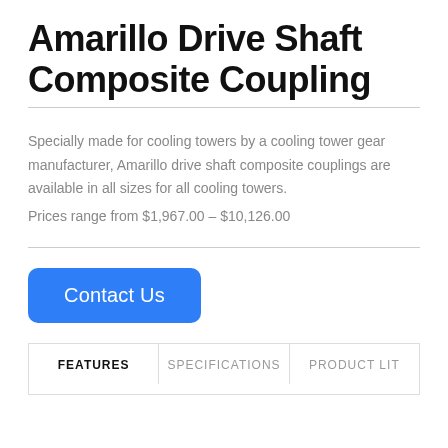Amarillo Drive Shaft Composite Coupling
Specially made for cooling towers by a cooling tower gear manufacturer, Amarillo drive shaft composite couplings are available in all sizes for all cooling towers.
Prices range from $1,967.00 – $10,126.00
Contact Us
| FEATURES | SPECIFICATIONS | PRODUCT LIT |
| --- | --- | --- |